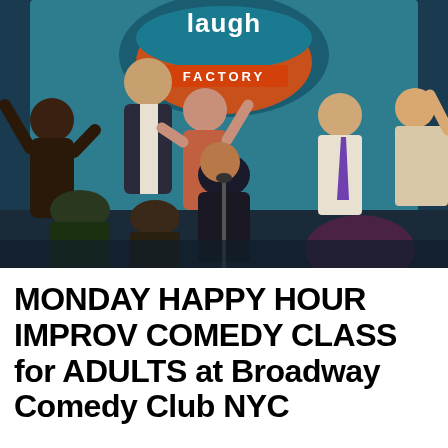[Figure (photo): Group of adults performing improv comedy on stage at the Laugh Factory comedy club. Several people are dancing and gesturing energetically. A large 'Laugh Factory' sign is visible in the background in teal and orange colors. A microphone stand is visible at center stage.]
MONDAY HAPPY HOUR IMPROV COMEDY CLASS for ADULTS at Broadway Comedy Club NYC